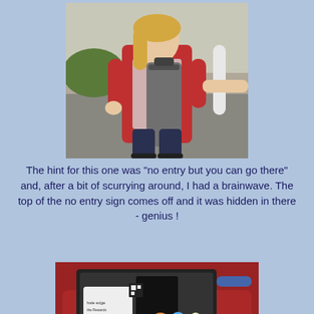[Figure (photo): A woman in a red hoodie standing outdoors holding a large cylindrical grey object (top of a no-entry sign), with a hand reaching in from the right side.]
The hint for this one was "no entry but you can go there" and, after a bit of scurrying around, I had a brainwave. The top of the no entry sign comes off and it was hidden in there - genius !
[Figure (photo): A collection of items inside an open suitcase on a red sofa, including small bags, toys, and other objects.]